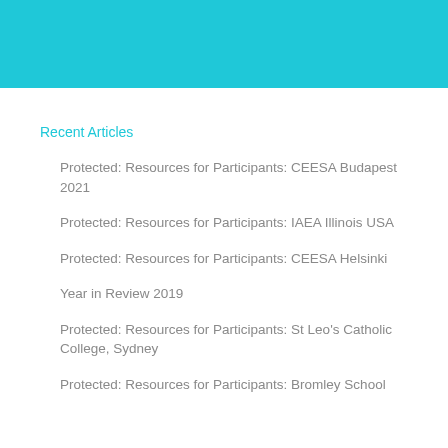[Figure (other): Teal/cyan colored header banner bar]
Recent Articles
Protected: Resources for Participants: CEESA Budapest 2021
Protected: Resources for Participants: IAEA Illinois USA
Protected: Resources for Participants: CEESA Helsinki
Year in Review 2019
Protected: Resources for Participants: St Leo's Catholic College, Sydney
Protected: Resources for Participants: Bromley School